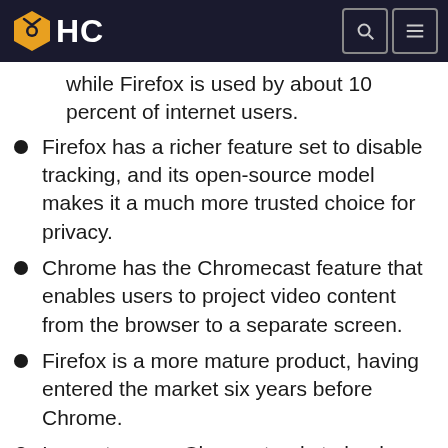HC
while Firefox is used by about 10 percent of internet users.
Firefox has a richer feature set to disable tracking, and its open-source model makes it a much more trusted choice for privacy.
Chrome has the Chromecast feature that enables users to project video content from the browser to a separate screen.
Firefox is a more mature product, having entered the market six years before Chrome.
In most cases, Chrome tends to load pages more quickly than Firefox, but Firefox gains a speed edge on mobile devices or in cases where many tabs are left open.